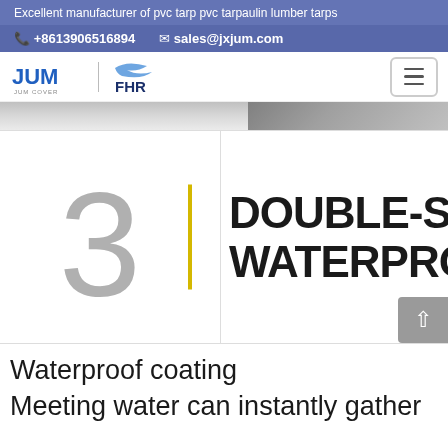Excellent manufacturer of pvc tarp pvc tarpaulin lumber tarps
+8613906516894   sales@jxjum.com
[Figure (logo): JUM COVER and FHR brand logos with navigation menu button]
[Figure (photo): Partial product/hero image banner, grayed out]
3
DOUBLE-SIDED WATERPROOF
Waterproof coating
Meeting water can instantly gather